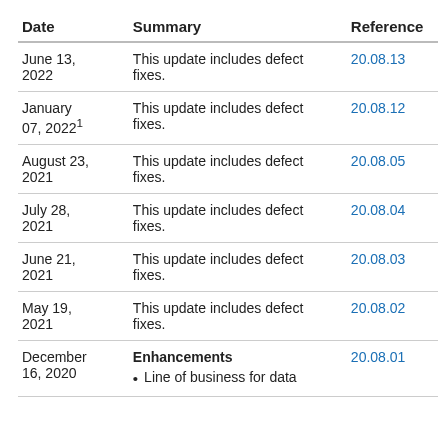| Date | Summary | Reference |
| --- | --- | --- |
| June 13, 2022 | This update includes defect fixes. | 20.08.13 |
| January 07, 2022¹ | This update includes defect fixes. | 20.08.12 |
| August 23, 2021 | This update includes defect fixes. | 20.08.05 |
| July 28, 2021 | This update includes defect fixes. | 20.08.04 |
| June 21, 2021 | This update includes defect fixes. | 20.08.03 |
| May 19, 2021 | This update includes defect fixes. | 20.08.02 |
| December 16, 2020 | Enhancements
• Line of business for data | 20.08.01 |